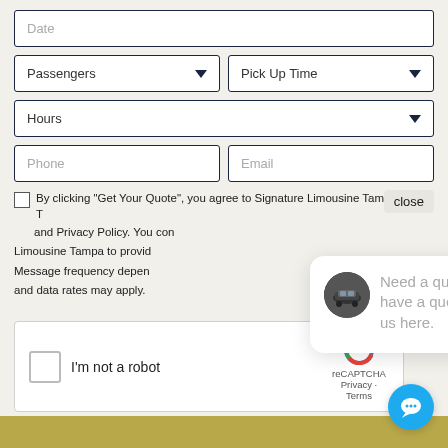[Figure (screenshot): Web form with fields: Date (text input), Passengers (dropdown), Pick Up Time (dropdown), Hours (dropdown), Phone (text input), Email (text input)]
By clicking "Get Your Quote", you agree to Signature Limousine Tampa's T and Privacy Policy. You con Limousine Tampa to provid Message frequency depen and data rates may apply.
[Figure (screenshot): Chat popup bubble: avatar photo of a car, text reading 'Need a quick quote or have a question? Text us here.' with close button]
[Figure (screenshot): reCAPTCHA widget: checkbox, I'm not a robot, reCAPTCHA logo, Privacy - Terms]
[Figure (screenshot): Blue circular chat button with speech bubble icon in bottom right corner]
[Figure (screenshot): Gold/tan colored bar at the bottom of the page]